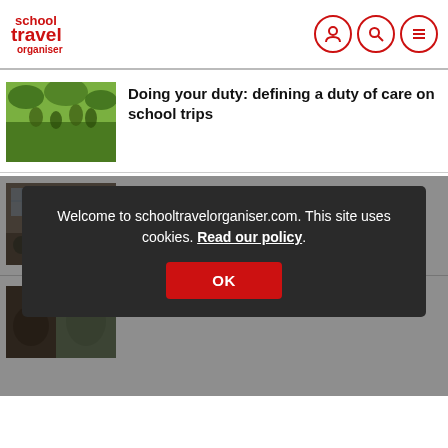school travel organiser
[Figure (photo): Children walking in a green outdoor area with trees and foliage]
Doing your duty: defining a duty of care on school trips
[Figure (photo): Students in a Victorian-era classroom looking at a blackboard with a teacher]
Bring the Victorian age alive with these school trips
[Figure (photo): Children outdoors, partially visible]
10 school trip ideas: geography trips
Welcome to schooltravelorganiser.com. This site uses cookies. Read our policy.
OK